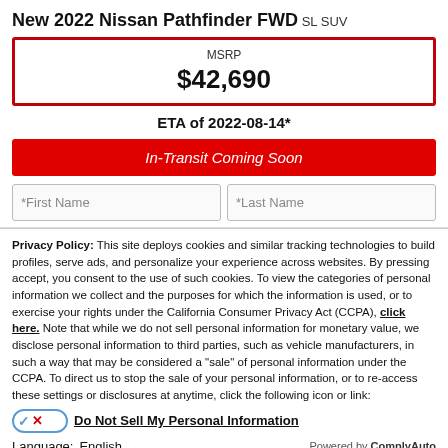New 2022 Nissan Pathfinder FWD
SL SUV
MSRP
$42,690
ETA of 2022-08-14*
In-Transit Coming Soon
*First Name
*Last Name
Privacy Policy: This site deploys cookies and similar tracking technologies to build profiles, serve ads, and personalize your experience across websites. By pressing accept, you consent to the use of such cookies. To view the categories of personal information we collect and the purposes for which the information is used, or to exercise your rights under the California Consumer Privacy Act (CCPA), click here. Note that while we do not sell personal information for monetary value, we disclose personal information to third parties, such as vehicle manufacturers, in such a way that may be considered a "sale" of personal information under the CCPA. To direct us to stop the sale of your personal information, or to re-access these settings or disclosures at anytime, click the following icon or link:
Do Not Sell My Personal Information
Language:  English  ∨  Powered by ComplyAuto
Accept and Continue →
California Privacy Disclosures
×